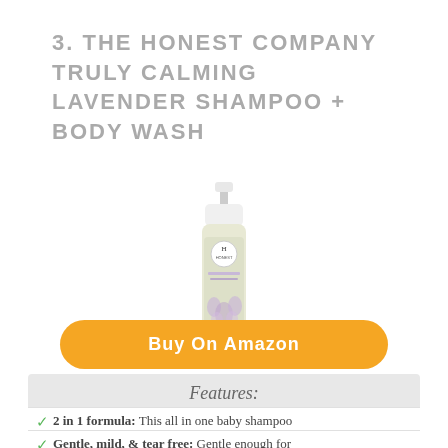3. THE HONEST COMPANY TRULY CALMING LAVENDER SHAMPOO + BODY WASH
[Figure (photo): Bottle of The Honest Company Truly Calming Lavender Shampoo + Body Wash, a tall slim bottle with white pump cap, light yellow/green liquid visible, lavender floral label design]
Buy On Amazon
Features:
2 in 1 formula: This all in one baby shampoo
Gentle, mild, & tear free: Gentle enough for